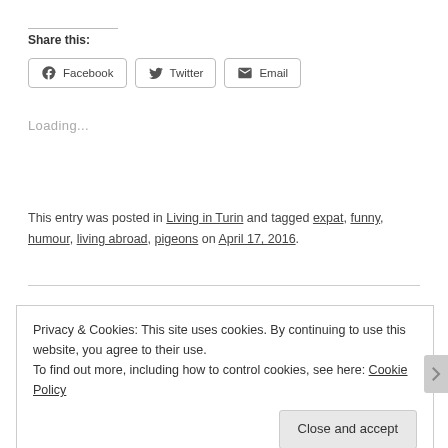Share this:
[Figure (other): Share buttons: Facebook, Twitter, Email]
Loading...
This entry was posted in Living in Turin and tagged expat, funny, humour, living abroad, pigeons on April 17, 2016.
Privacy & Cookies: This site uses cookies. By continuing to use this website, you agree to their use.
To find out more, including how to control cookies, see here: Cookie Policy
Close and accept